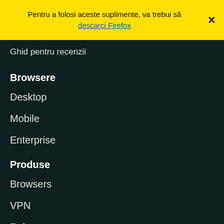Pentru a folosi aceste suplimente, va trebui să descarci Firefox
Ghid pentru recenzii
Browsere
Desktop
Mobile
Enterprise
Produse
Browsers
VPN
Relay